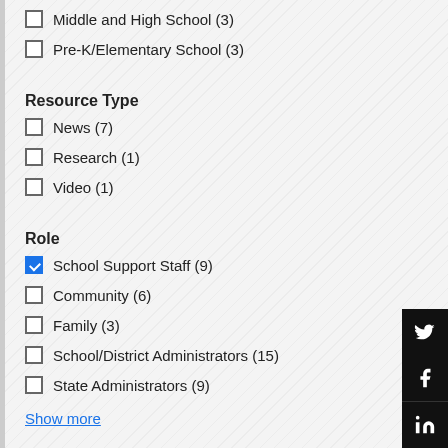Middle and High School (3)
Pre-K/Elementary School (3)
Resource Type
News (7)
Research (1)
Video (1)
Role
School Support Staff (9)
Community (6)
Family (3)
School/District Administrators (15)
State Administrators (9)
Show more